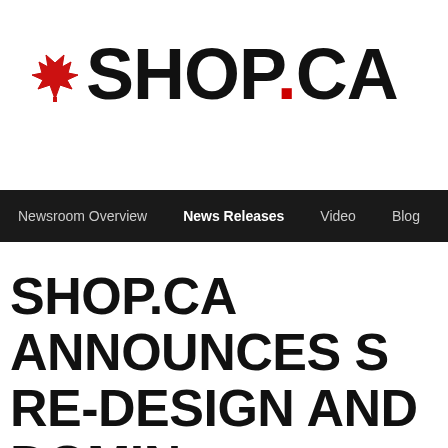[Figure (logo): SHOP.CA logo with red maple leaf icon on the left and bold black text SHOP.CA]
Newsroom Overview | News Releases | Video | Blog
SHOP.CA ANNOUNCES S RE-DESIGN AND DOMINA SELECTION IN HOME APPLIANCES